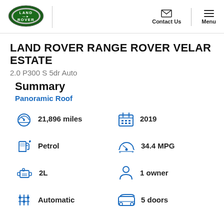[Figure (logo): Land Rover oval green logo with LAND ROVER text]
Contact Us  Menu
LAND ROVER RANGE ROVER VELAR ESTATE
2.0 P300 S 5dr Auto
Summary
Panoramic Roof
21,896 miles
2019
Petrol
34.4 MPG
2L
1 owner
Automatic
5 doors